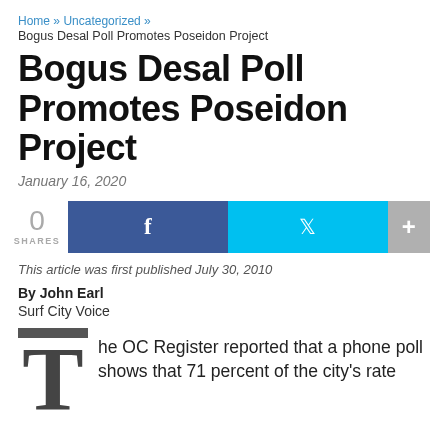Home » Uncategorized »
Bogus Desal Poll Promotes Poseidon Project
Bogus Desal Poll Promotes Poseidon Project
January 16, 2020
0 SHARES
This article was first published July 30, 2010
By John Earl
Surf City Voice
The OC Register reported that a phone poll shows that 71 percent of the city's rate...